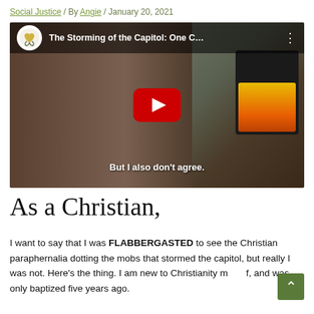Social Justice / By Angie / January 20, 2021
[Figure (screenshot): YouTube video thumbnail showing a woman with red hair and glasses, with a YouTube play button overlay. Title reads 'The Storming of the Capitol: One C...' and subtitle text reads 'But I also don't agree.']
As a Christian,
I want to say that I was FLABBERGASTED to see the Christian paraphernalia dotting the mobs that stormed the capitol, but really I was not. Here's the thing. I am new to Christianity myself, and was only baptized five years ago.